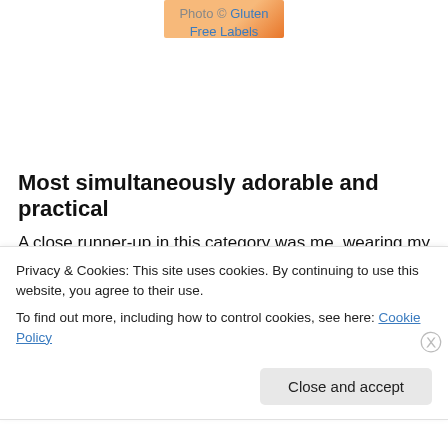[Figure (photo): Partial photo of an orange object, cropped at top]
Photo © Gluten Free Labels
Most simultaneously adorable and practical
A close runner-up in this category was me, wearing my Red Apple Audrey lipstick sample, but I figured I'm not really that practical, so I gave it to Gluten-Free
Privacy & Cookies: This site uses cookies. By continuing to use this website, you agree to their use.
To find out more, including how to control cookies, see here: Cookie Policy